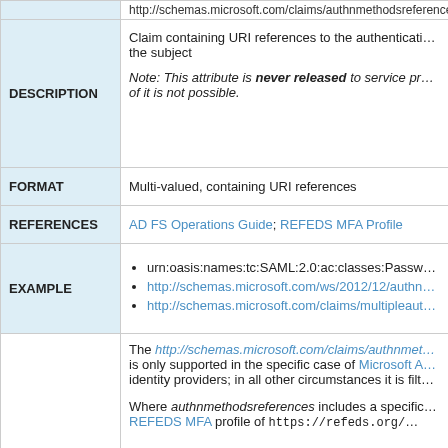| Field | Content |
| --- | --- |
| (url row) | http://schemas.microsoft.com/claims/authnmethodsre... |
| DESCRIPTION | Claim containing URI references to the authentication methods used to authenticate the subject

Note: This attribute is never released to service providers and control of it is not possible. |
| FORMAT | Multi-valued, containing URI references |
| REFERENCES | AD FS Operations Guide; REFEDS MFA Profile |
| EXAMPLE | urn:oasis:names:tc:SAML:2.0:ac:classes:Passw...
http://schemas.microsoft.com/ws/2012/12/authn...
http://schemas.microsoft.com/claims/multipleaut... |
| (notes) | The http://schemas.microsoft.com/claims/authnmet... is only supported in the specific case of Microsoft A... identity providers; in all other circumstances it is filt...

Where authnmethodsreferences includes a specific... REFEDS MFA profile of https://refeds.org/... |